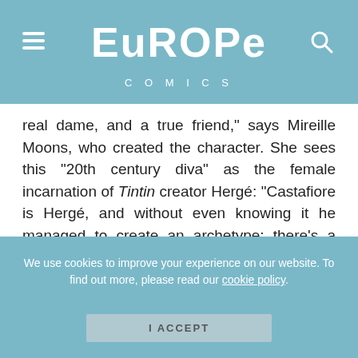Europe Comics
real dame, and a true friend,” says Mireille Moons, who created the character. She sees this “20th century diva” as the female incarnation of Tintin creator Hergé: “Castafiore is Hergé, and without even knowing it he managed to create an archetype: there’s a Castafiore in every single one of us, singing and laughing without care.”
We use cookies to improve your experience on our website. To find out more, please read our cookie policy.